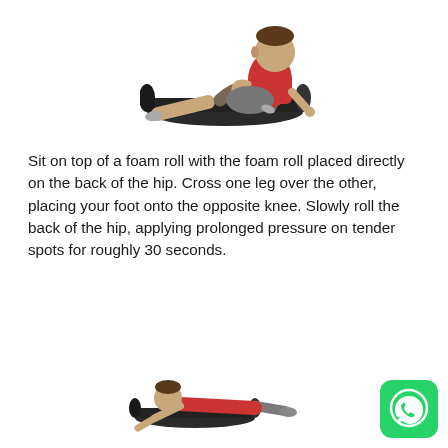[Figure (photo): Person in red shirt sitting on a foam roller with one leg crossed over the other knee, performing a hip foam rolling exercise]
Sit on top of a foam roll with the foam roll placed directly on the back of the hip. Cross one leg over the other, placing your foot onto the opposite knee. Slowly roll the back of the hip, applying prolonged pressure on tender spots for roughly 30 seconds.
[Figure (photo): Person in red shirt in a plank/push-up position on a foam roller performing a core exercise]
[Figure (logo): WhatsApp icon - green rounded square with white phone handset logo]